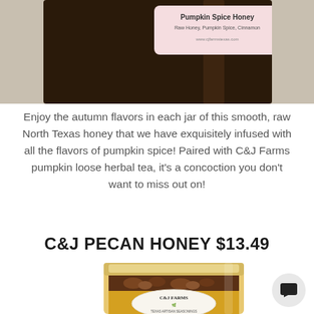[Figure (photo): Dark glass jar/bottle with a pink label reading 'Pumpkin Spice Honey - Raw Honey, Pumpkin Spice, Cinnamon' with website www.cjfarmstexas.com]
Enjoy the autumn flavors in each jar of this smooth, raw North Texas honey that we have exquisitely infused with all the flavors of pumpkin spice! Paired with C&J Farms pumpkin loose herbal tea, it's a concoction you don't want to miss out on!
C&J PECAN HONEY $13.49
[Figure (photo): Glass jar of C&J Farms Texas Artisan Seasonings pecan honey, with golden honey and pecans visible, featuring a round white label with green plant logo]